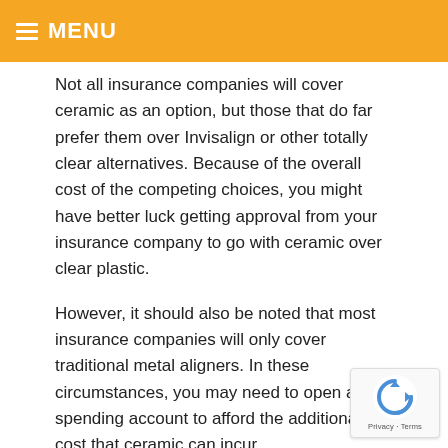MENU
Not all insurance companies will cover ceramic as an option, but those that do far prefer them over Invisalign or other totally clear alternatives. Because of the overall cost of the competing choices, you might have better luck getting approval from your insurance company to go with ceramic over clear plastic.
However, it should also be noted that most insurance companies will only cover traditional metal aligners. In these circumstances, you may need to open a flex spending account to afford the additional cost that ceramic can incur.